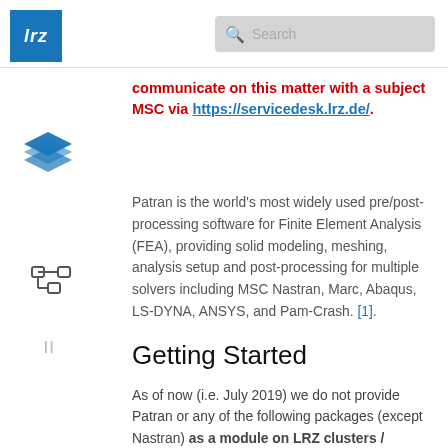lrz | Search
communicate on this matter with a subject MSC via https://servicedesk.lrz.de/.
Patran is the world's most widely used pre/post-processing software for Finite Element Analysis (FEA), providing solid modeling, meshing, analysis setup and post-processing for multiple solvers including MSC Nastran, Marc, Abaqus, LS-DYNA, ANSYS, and Pam-Crash. [1].
Getting Started
As of now (i.e. July 2019) we do not provide Patran or any of the following packages (except Nastran) as a module on LRZ clusters / Supercomputers. We provide binary in-cabin installation for the cloud in-stallation